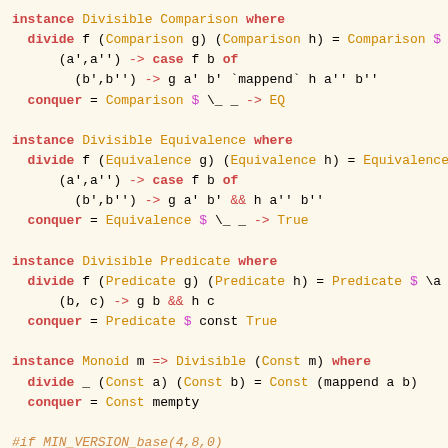[Figure (screenshot): Haskell source code showing multiple Divisible typeclass instances including Comparison, Equivalence, Predicate, Const, Alt, and U1, with syntax highlighting on a cream background.]